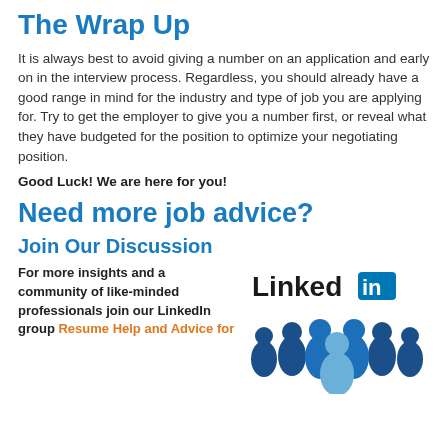The Wrap Up
It is always best to avoid giving a number on an application and early on in the interview process. Regardless, you should already have a good range in mind for the industry and type of job you are applying for. Try to get the employer to give you a number first, or reveal what they have budgeted for the position to optimize your negotiating position.
Good Luck! We are here for you!
Need more job advice?
Join Our Discussion
For more insights and a community of like-minded professionals join our LinkedIn group Resume Help and Advice for
[Figure (logo): LinkedIn logo with group of people silhouettes in blue]